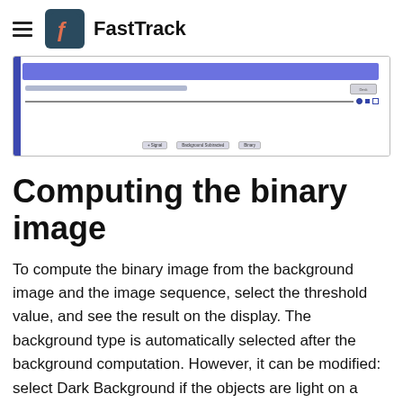FastTrack
[Figure (screenshot): Screenshot of a FastTrack software interface showing a blue highlighted bar at the top, a slider control row, and tab buttons labeled 'Original', 'Background Subtracted', 'Binary' at the bottom.]
Computing the binary image
To compute the binary image from the background image and the image sequence, select the threshold value, and see the result on the display. The background type is automatically selected after the background computation. However, it can be modified: select Dark Background if the objects are light on a dark background, and Light